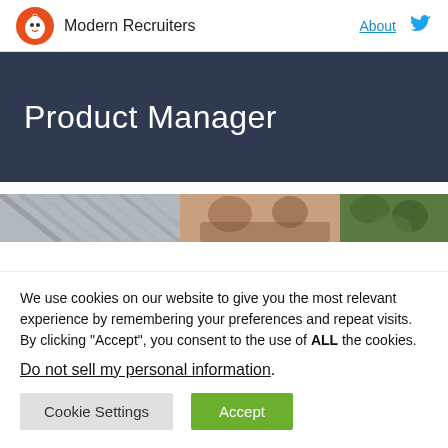Modern Recruiters | About
Product Manager
[Figure (photo): Partial image strip showing blurred/abstract image with people and foliage]
We use cookies on our website to give you the most relevant experience by remembering your preferences and repeat visits. By clicking “Accept”, you consent to the use of ALL the cookies.
Do not sell my personal information.
Cookie Settings | Accept